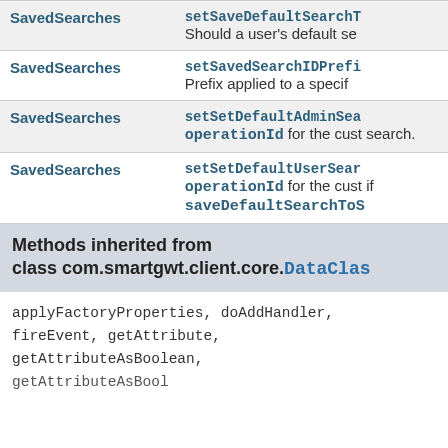| Class | Method / Description |
| --- | --- |
| SavedSearches | setSaveDefaultSearchT…
Should a user's default se… |
| SavedSearches | setSavedSearchIDPrefi…
Prefix applied to a specif… |
| SavedSearches | setSetDefaultAdminSea…
operationId for the cust… search. |
| SavedSearches | setSetDefaultUserSear…
operationId for the cust… if saveDefaultSearchToS… |
Methods inherited from class com.smartgwt.client.core.DataClas…
applyFactoryProperties, doAddHandler, fireEvent, getAttribute, getAttributeAsBoolean, getAttributeAsBool…